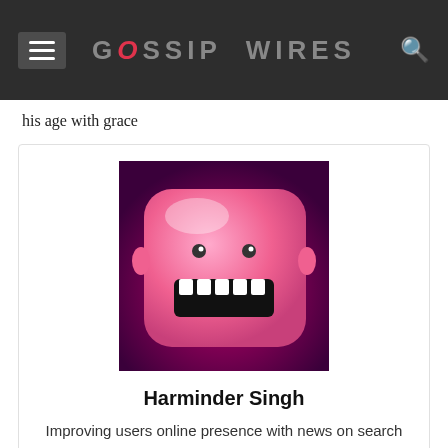GOSSIP WIRES
his age with grace
[Figure (illustration): Pink cartoon character avatar with wide open mouth showing teeth, used as author profile image for Harminder Singh]
Harminder Singh
Improving users online presence with news on search networks and social media platforms.
RELATED ARTICLES   MORE FROM AUTHOR